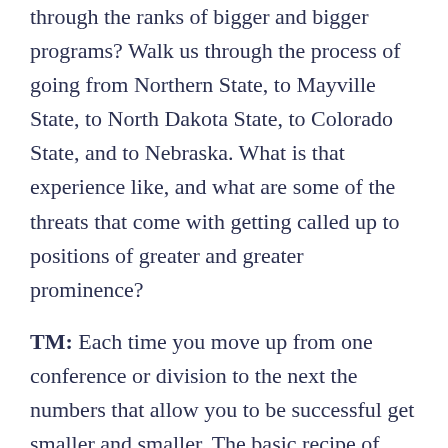through the ranks of bigger and bigger programs? Walk us through the process of going from Northern State, to Mayville State, to North Dakota State, to Colorado State, and to Nebraska. What is that experience like, and what are some of the threats that come with getting called up to positions of greater and greater prominence?
TM: Each time you move up from one conference or division to the next the numbers that allow you to be successful get smaller and smaller. The basic recipe of how I run a program and how I run my staff don't change. Joe can back me up on this: I have the same handouts, philosophy, and rules. We basically just change the levels.